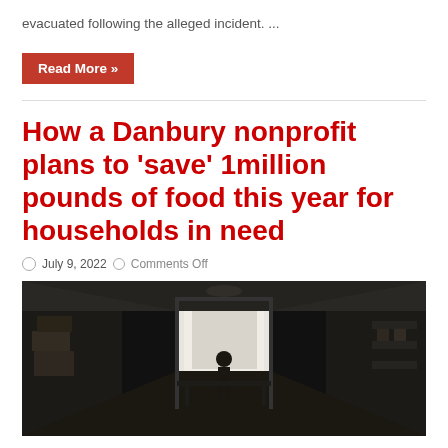evacuated following the alleged incident. ...
Read More »
How a Danbury nonprofit plans to 'save' 1million pounds of food this year for households in need
July 9, 2022   Comments Off
[Figure (photo): Dark interior of a warehouse/food bank with a person standing silhouetted in a bright doorway at the far end, shelves and boxes visible on the sides.]